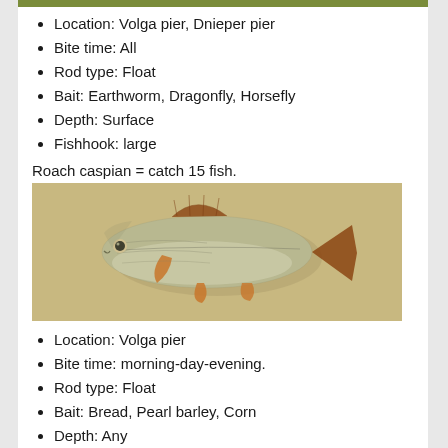Location: Volga pier, Dnieper pier
Bite time: All
Rod type: Float
Bait: Earthworm, Dragonfly, Horsefly
Depth: Surface
Fishhook: large
Roach caspian = catch 15 fish.
[Figure (photo): Photo of a roach caspian fish on a tan/beige background, side view showing grey-silver scales, orange-brown fins and tail]
Location: Volga pier
Bite time: morning-day-evening.
Rod type: Float
Bait: Bread, Pearl barley, Corn
Depth: Any
Fishhook: middle
Note: It is a difficult fish to catch, the only way is to have patience.